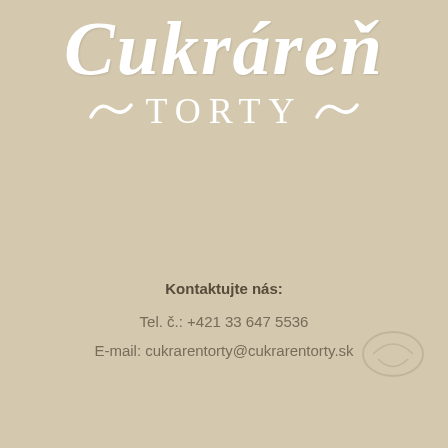[Figure (logo): Cukráreň Torty logo with cursive white text and decorative tildes]
Kontaktujte nás:
Tel. č.: +421 33 647 5536
E-mail: cukrarentorty@cukrarentorty.sk